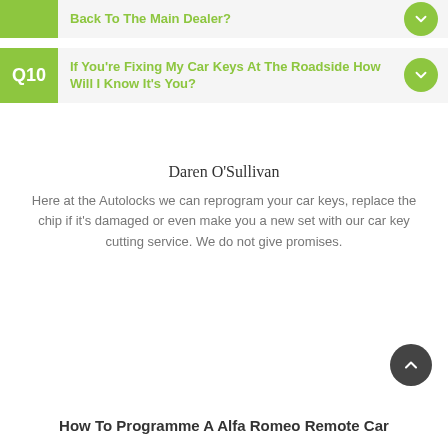Q10 If You're Fixing My Car Keys At The Roadside How Will I Know It's You?
Daren O'Sullivan
Here at the Autolocks we can reprogram your car keys, replace the chip if it's damaged or even make you a new set with our car key cutting service. We do not give promises.
How To Programme A Alfa Romeo Remote Car